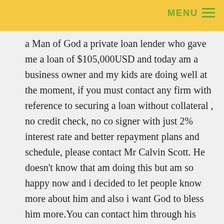MENU
a Man of God a private loan lender who gave me a loan of $105,000USD and today am a business owner and my kids are doing well at the moment, if you must contact any firm with reference to securing a loan without collateral , no credit check, no co signer with just 2% interest rate and better repayment plans and schedule, please contact Mr Calvin Scott. He doesn't know that am doing this but am so happy now and i decided to let people know more about him and also i want God to bless him more.You can contact him through his email: (calvinloancompany@yahoo.com) Or http://calvinfinancialloanhome.bravesites.com/loa